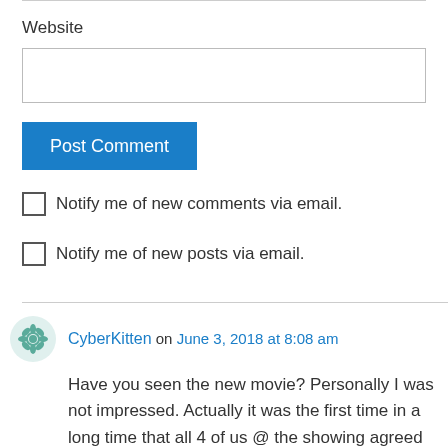Website
Post Comment
Notify me of new comments via email.
Notify me of new posts via email.
CyberKitten on June 3, 2018 at 8:08 am
Have you seen the new movie? Personally I was not impressed. Actually it was the first time in a long time that all 4 of us @ the showing agreed on what we thought of it: dull and uninspired.